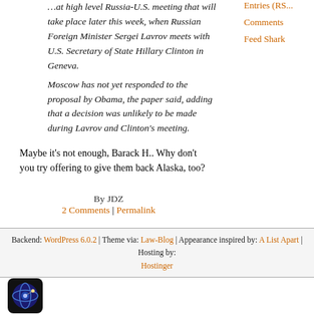…at high level Russia-U.S. meeting that will take place later this week, when Russian Foreign Minister Sergei Lavrov meets with U.S. Secretary of State Hillary Clinton in Geneva.
Moscow has not yet responded to the proposal by Obama, the paper said, adding that a decision was unlikely to be made during Lavrov and Clinton's meeting.
Maybe it's not enough, Barack H.. Why don't you try offering to give them back Alaska, too?
By JDZ
2 Comments | Permalink
Entries (RSS)
Comments
Feed Shark
Backend: WordPress 6.0.2 | Theme via: Law-Blog | Appearance inspired by: A List Apart | Hosting by: Hostinger